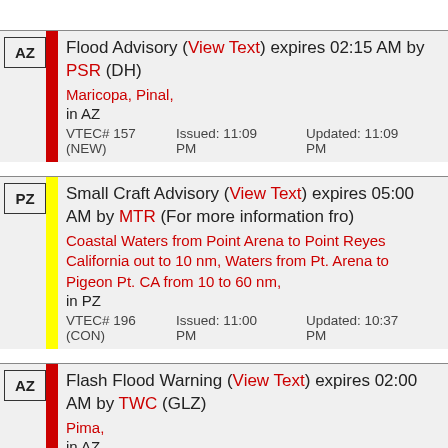Flood Advisory (View Text) expires 02:15 AM by PSR (DH) Maricopa, Pinal, in AZ VTEC# 157 (NEW) Issued: 11:09 PM Updated: 11:09 PM
Small Craft Advisory (View Text) expires 05:00 AM by MTR (For more information fro) Coastal Waters from Point Arena to Point Reyes California out to 10 nm, Waters from Pt. Arena to Pigeon Pt. CA from 10 to 60 nm, in PZ VTEC# 196 (CON) Issued: 11:00 PM Updated: 10:37 PM
Flash Flood Warning (View Text) expires 02:00 AM by TWC (GLZ) Pima, in AZ